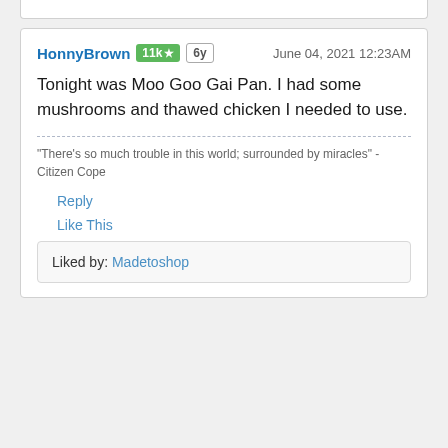HonnyBrown  11k ★  6y   June 04, 2021 12:23AM
Tonight was Moo Goo Gai Pan. I had some mushrooms and thawed chicken I needed to use.
"There's so much trouble in this world; surrounded by miracles" - Citizen Cope
Reply
Like This
Liked by: Madetoshop